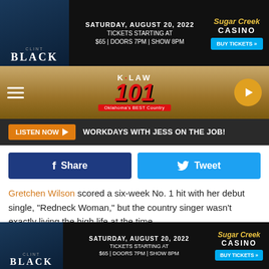[Figure (other): Top advertisement banner for Clint Black at Sugar Creek Casino, Saturday August 20 2022, tickets starting at $65, Doors 7PM, Show 8PM]
[Figure (other): K-LAW 101 radio station navigation bar with hamburger menu, K-LAW 101 logo, and play button]
LISTEN NOW ▶  WORKDAYS WITH JESS ON THE JOB!
[Figure (other): Social share buttons: Facebook Share and Twitter Tweet]
Gretchen Wilson scored a six-week No. 1 hit with her debut single, "Redneck Woman," but the country singer wasn't exactly living the high life at the time.
Wilson hit it big seemingly overnight when Epic Records released "Redneck Woman" as the lead single from her debut album, Here for the Party, in 2004. The song reached No. 1 on Billboard's Hot Country Songs chart, and it also garnered
[Figure (other): Bottom advertisement banner for Clint Black at Sugar Creek Casino, Saturday August 20 2022, tickets starting at $65, Doors 7PM, Show 8PM]